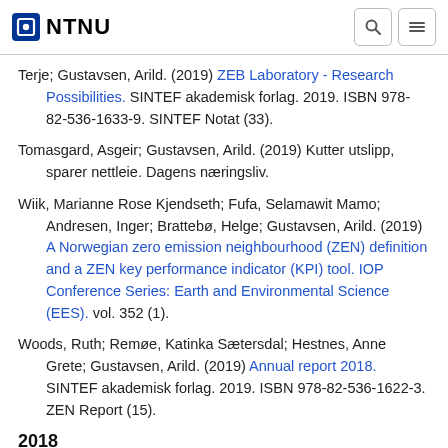NTNU
Terje; Gustavsen, Arild. (2019) ZEB Laboratory - Research Possibilities. SINTEF akademisk forlag. 2019. ISBN 978-82-536-1633-9. SINTEF Notat (33).
Tomasgard, Asgeir; Gustavsen, Arild. (2019) Kutter utslipp, sparer nettleie. Dagens næringsliv.
Wiik, Marianne Rose Kjendseth; Fufa, Selamawit Mamo; Andresen, Inger; Brattebø, Helge; Gustavsen, Arild. (2019) A Norwegian zero emission neighbourhood (ZEN) definition and a ZEN key performance indicator (KPI) tool. IOP Conference Series: Earth and Environmental Science (EES). vol. 352 (1).
Woods, Ruth; Remøe, Katinka Sætersdal; Hestnes, Anne Grete; Gustavsen, Arild. (2019) Annual report 2018. SINTEF akademisk forlag. 2019. ISBN 978-82-536-1622-3. ZEN Report (15).
2018
Baer, Daniela; Gustavsen, Arild; Andresen, Inger. (2018)